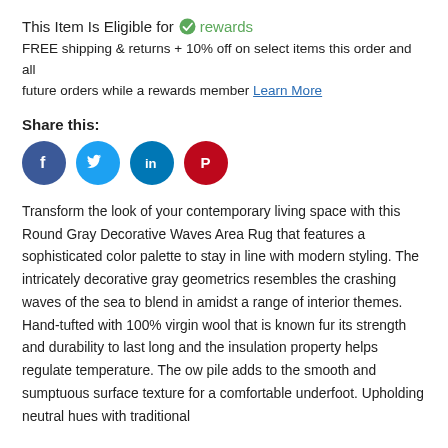This Item Is Eligible for ✓ rewards
FREE shipping & returns + 10% off on select items this order and all future orders while a rewards member Learn More
Share this:
[Figure (infographic): Row of four social media icon circles: Facebook (dark blue), Twitter (light blue), LinkedIn (medium blue), Pinterest (red)]
Transform the look of your contemporary living space with this Round Gray Decorative Waves Area Rug that features a sophisticated color palette to stay in line with modern styling. The intricately decorative gray geometrics resembles the crashing waves of the sea to blend in amidst a range of interior themes. Hand-tufted with 100% virgin wool that is known fur its strength and durability to last long and the insulation property helps regulate temperature. The ow pile adds to the smooth and sumptuous surface texture for a comfortable underfoot. Upholding neutral hues with traditional